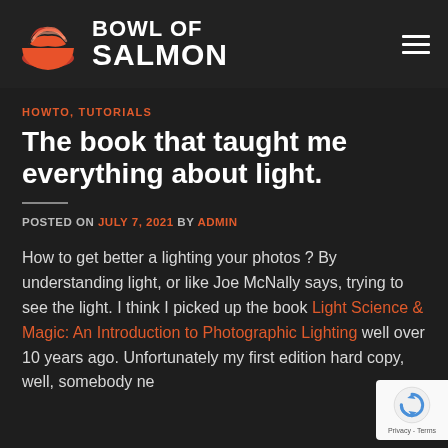[Figure (logo): Bowl of Salmon logo with orange salmon bowl icon and white bold text 'BOWL OF SALMON']
HOWTO, TUTORIALS
The book that taught me everything about light.
POSTED ON JULY 7, 2021 BY ADMIN
How to get better a lighting your photos ? By understanding light, or like Joe McNally says, trying to see the light. I think I picked up the book Light Science & Magic: An Introduction to Photographic Lighting well over 10 years ago. Unfortunately my first edition hard copy, well, somebody ne…